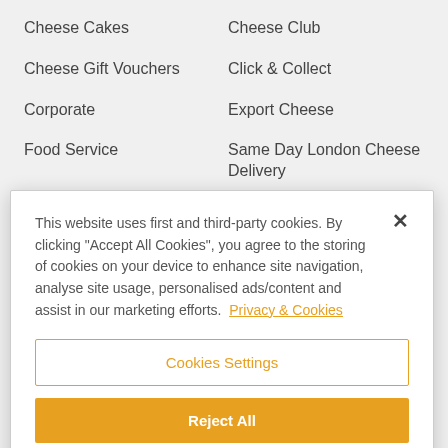Cheese Cakes
Cheese Club
Cheese Gift Vouchers
Click & Collect
Corporate
Export Cheese
Food Service
Same Day London Cheese Delivery
This website uses first and third-party cookies. By clicking "Accept All Cookies", you agree to the storing of cookies on your device to enhance site navigation, analyse site usage, personalised ads/content and assist in our marketing efforts. Privacy & Cookies
Cookies Settings
Reject All
Accept All Cookies